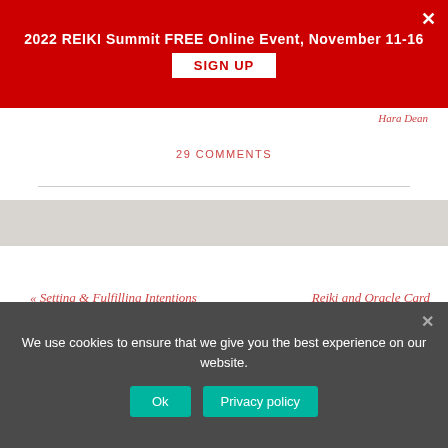2022 REIKI Summit FREE Online Event, November 11-16
SIGN UP
Hara Dean
29 COMMENTS
« Setting & Fulfilling Intentions With Reiki and Archangel Michael
Reiki and Oracle Card Readings »
We use cookies to ensure that we give you the best experience on our website.
Ok
Privacy policy